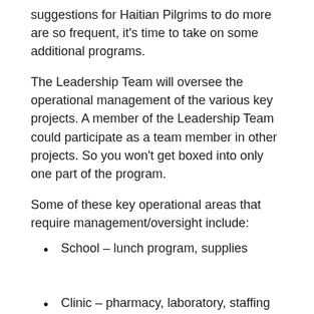suggestions for Haitian Pilgrims to do more are so frequent, it's time to take on some additional programs.
The Leadership Team will oversee the operational management of the various key projects. A member of the Leadership Team could participate as a team member in other projects. So you won't get boxed into only one part of the program.
Some of these key operational areas that require management/oversight include:
School – lunch program, supplies
Clinic – pharmacy, laboratory, staffing